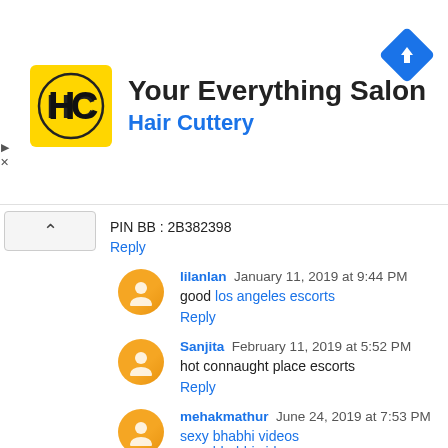[Figure (logo): Hair Cuttery ad banner with HC logo, title 'Your Everything Salon', subtitle 'Hair Cuttery', and navigation icon]
PIN BB : 2B382398
Reply
lilanlan  January 11, 2019 at 9:44 PM
good los angeles escorts
Reply
Sanjita  February 11, 2019 at 5:52 PM
hot connaught place escorts
Reply
mehakmathur  June 24, 2019 at 7:53 PM
sexy bhabhi videos
sexy bhabhi videos